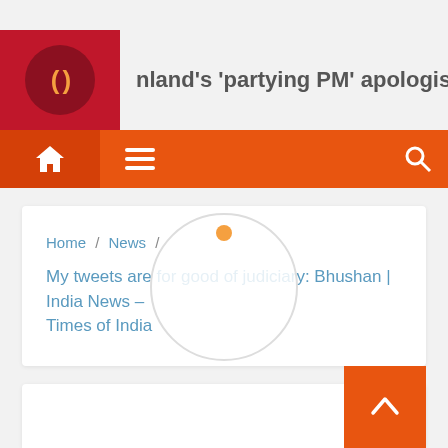nland's ‘partying PM’ apologises for controversial pic
[Figure (logo): Radio/media logo with orange parentheses symbol on dark red circular background on red square]
[Figure (screenshot): Orange navigation bar with home icon, hamburger menu icon, and search icon]
Home / News / My tweets are for good of judiciary: Bhushan | India News – Times of India